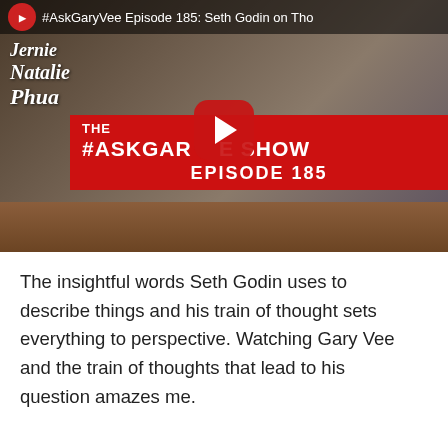[Figure (screenshot): YouTube video thumbnail for #AskGaryVee Episode 185 featuring Seth Godin and Gary Vee seated at a table. Red banner overlay reads THE #ASKGARYV[EE] SHOW EPISODE 185. YouTube play button in center. Channel icon top left. Title bar at top reads '#AskGaryVee Episode 185: Seth Godin on Tho...'. Watermark 'Jernie Natalie Phua' on left.]
The insightful words Seth Godin uses to describe things and his train of thought sets everything to perspective. Watching Gary Vee and the train of thoughts that lead to his question amazes me.